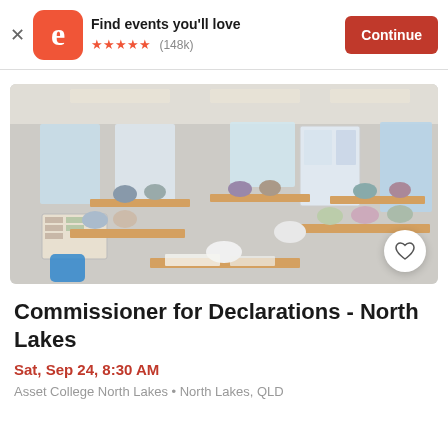Find events you'll love ★★★★★ (148k) Continue
[Figure (photo): Classroom photo showing approximately 15 adults seated at desks in a modern training room with fluorescent lighting, whiteboards, and windows]
Commissioner for Declarations - North Lakes
Sat, Sep 24, 8:30 AM
Asset College North Lakes • North Lakes, QLD